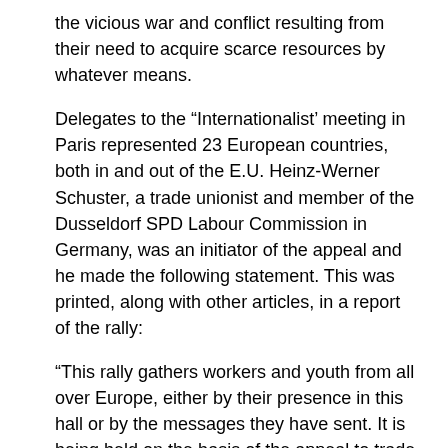the vicious war and conflict resulting from their need to acquire scarce resources by whatever means.
Delegates to the “Internationalist’ meeting in Paris represented 23 European countries, both in and out of the E.U. Heinz-Werner Schuster, a trade unionist and member of the Dusseldorf SPD Labour Commission in Germany, was an initiator of the appeal and he made the following statement. This was printed, along with other articles, in a report of the rally:
“This rally gathers workers and youth from all over Europe, either by their presence in this hall or by the messages they have sent. It is being held on the basis of the appeal to trade unions, Labour Party branches and CLPs and those British labour activists who, despite the instructions issued by the Labour Party leadership and the leading circles of the European Trade Union Confederation (ETUC), have decided to call for a vote to “leave” the European Union on 23 June!